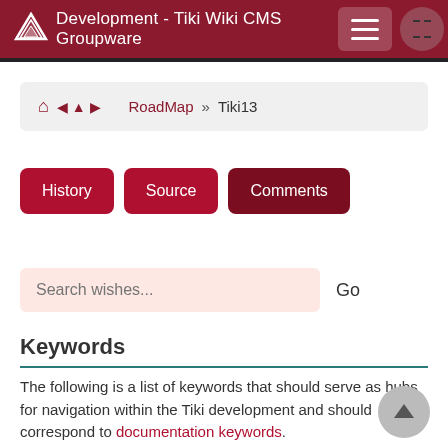Development - Tiki Wiki CMS Groupware
RoadMap » Tiki13
History | Source | Comments
Search wishes...  Go
Keywords
The following is a list of keywords that should serve as hubs for navigation within the Tiki development and should correspond to documentation keywords.